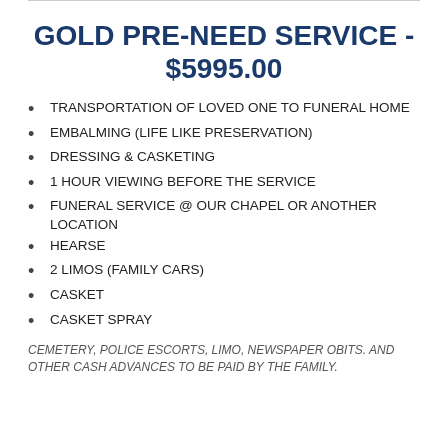GOLD PRE-NEED SERVICE - $5995.00
TRANSPORTATION OF LOVED ONE TO FUNERAL HOME
EMBALMING (LIFE LIKE PRESERVATION)
DRESSING & CASKETING
1 HOUR VIEWING BEFORE THE SERVICE
FUNERAL SERVICE @ OUR CHAPEL OR ANOTHER LOCATION
HEARSE
2 LIMOS (FAMILY CARS)
CASKET
CASKET SPRAY
CEMETERY, POLICE ESCORTS, LIMO, NEWSPAPER OBITS. AND OTHER CASH ADVANCES TO BE PAID BY THE FAMILY.